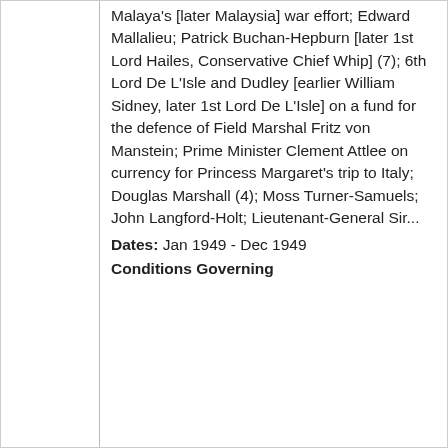Malaya's [later Malaysia] war effort; Edward Mallalieu; Patrick Buchan-Hepburn [later 1st Lord Hailes, Conservative Chief Whip] (7); 6th Lord De L'Isle and Dudley [earlier William Sidney, later 1st Lord De L'Isle] on a fund for the defence of Field Marshal Fritz von Manstein; Prime Minister Clement Attlee on currency for Princess Margaret's trip to Italy; Douglas Marshall (4); Moss Turner-Samuels; John Langford-Holt; Lieutenant-General Sir...
Dates: Jan 1949 - Dec 1949
Conditions Governing